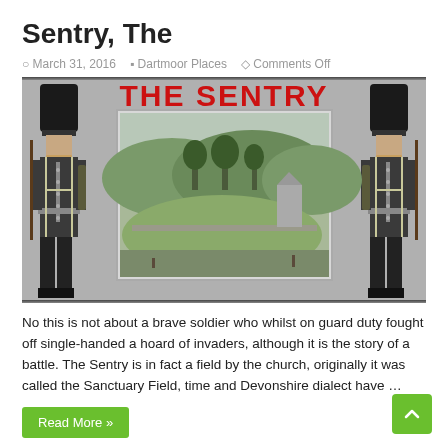Sentry, The
March 31, 2016   Dartmoor Places   Comments Off
[Figure (illustration): THE SENTRY banner image with two royal guards in bearskin hats flanking a black-and-white photograph of a rural field and church scene. Bold red text reads THE SENTRY.]
No this is not about a brave soldier who whilst on guard duty fought off single-handed a hoard of invaders, although it is the story of a battle. The Sentry is in fact a field by the church, originally it was called the Sanctuary Field, time and Devonshire dialect have …